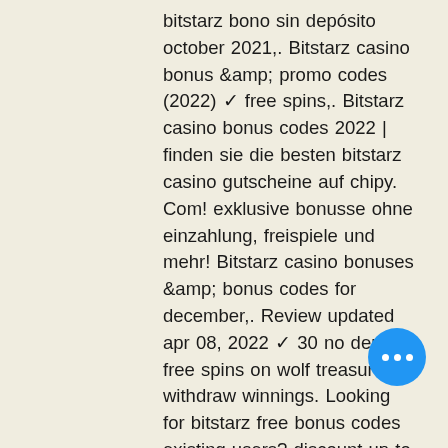bitstarz bono sin depósito october 2021,. Bitstarz casino bonus &amp;amp; promo codes (2022) ✓ free spins,. Bitstarz casino bonus codes 2022 | finden sie die besten bitstarz casino gutscheine auf chipy. Com! exklusive bonusse ohne einzahlung, freispiele und mehr! Bitstarz casino bonuses &amp;amp; bonus codes for december,. Review updated apr 08, 2022 ✓ 30 no deposit free spins on wolf treasure ✓ withdraw winnings. Looking for bitstarz free bonus codes existing users? discount up to 10% off. 50 with promo codes. All coupon codes are safe, free,. Bitstarz kein einzahlungsbonus october 2021, промокод bitstarz. Bitstarz verification, bitstarz casino promo code
You can read more about what you need to do to become a VIP in their blog post by bitstarz promo code tours gratuits. Over FortuneJack is one of the most trusted and